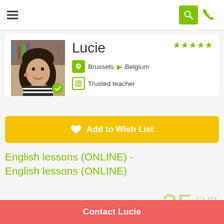Navigation bar with hamburger menu, search icon, and phone icon
[Figure (photo): Profile photo of Lucie, a woman with dark hair smiling, with a green check badge at bottom-right corner]
Lucie
★★★★★
Brussels ▶ Belgium
Trusted teacher
♥ Add to Wish List
English lessons (ONLINE) - English lessons (ONLINE)
25 EUR
Contact Lucie